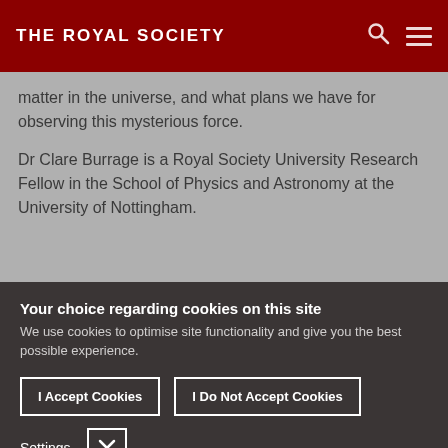THE ROYAL SOCIETY
matter in the universe, and what plans we have for observing this mysterious force.

Dr Clare Burrage is a Royal Society University Research Fellow in the School of Physics and Astronomy at the University of Nottingham.
Your choice regarding cookies on this site
We use cookies to optimise site functionality and give you the best possible experience.
I Accept Cookies
I Do Not Accept Cookies
Settings